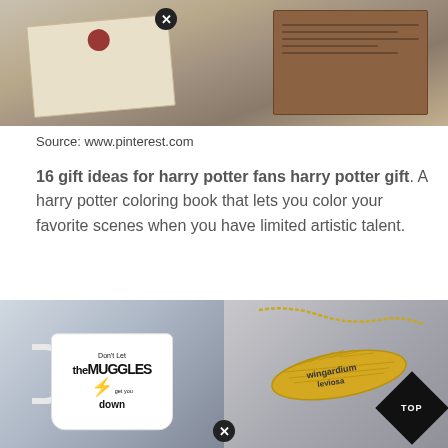[Figure (photo): Photo of a cream-colored envelope with red wax seal and a brown card with text, on a gray surface]
Source: www.pinterest.com
16 gift ideas for harry potter fans harry potter gift. A harry potter coloring book that lets you color your favorite scenes when you have limited artistic talent.
[Figure (photo): Photo of a white mug with text 'Don't Let the MUGGLES get you down' with a lightning bolt]
[Figure (photo): Photo of a gold feather necklace engraved with 'wingardium leviosa']